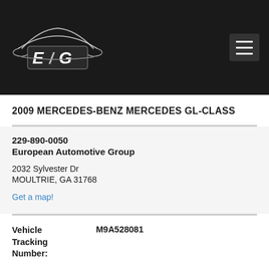[Figure (logo): EAG European Automotive Group logo on black header bar with hamburger menu icon]
2009 MERCEDES-BENZ MERCEDES GL-CLASS
229-890-0050
European Automotive Group

2032 Sylvester Dr
MOULTRIE, GA 31768

Get a map!
| Vehicle Tracking Number: | M9A528081 |
Year: 2009